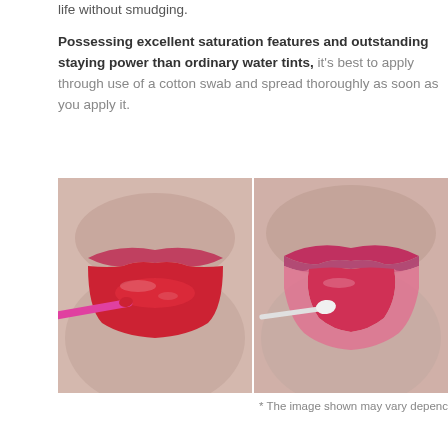life without smudging.
Possessing excellent saturation features and outstanding staying power than ordinary water tints, it's best to apply through use of a cotton swab and spread thoroughly as soon as you apply it.
[Figure (photo): Two side-by-side close-up photos of lips showing application of red lip tint. Left photo shows applicator applying red color to lower lip. Right photo shows cotton swab blending the ombre lip look.]
* The image shown may vary depenc